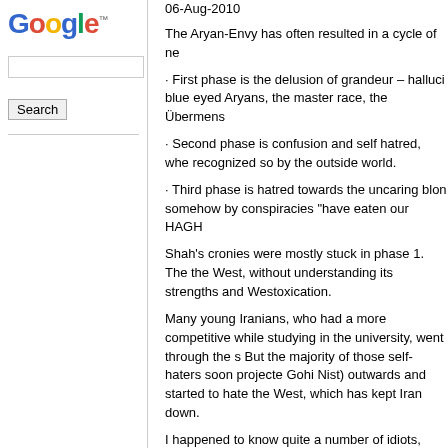[Figure (logo): Google logo in multicolor text with trademark symbol]
Search input box and Search button
06-Aug-2010
The Aryan-Envy has often resulted in a cycle of ne
First phase is the delusion of grandeur – halluci blue eyed Aryans, the master race, the Übermens
Second phase is confusion and self hatred, whe recognized so by the outside world.
Third phase is hatred towards the uncaring blon somehow by conspiracies "have eaten our HAGH
Shah's cronies were mostly stuck in phase 1. The the West, without understanding its strengths and Westoxication.
Many young Iranians, who had a more competitive while studying in the university, went through the s But the majority of those self-haters soon projecte Gohi Nist) outwards and started to hate the West, which has kept Iran down.
I happened to know quite a number of idiots, man army colonels and generals, who adamantly thou were Aryans, just like the Germans! Their stupid fa the 2nd WW, and sincerely believed that Iran wou killing all the camels (as Reza Shah did).
Almost all of those same idiots first turned into ch haters, when they made contact with the America them "evolved" to become fiery Hezbollah or Com